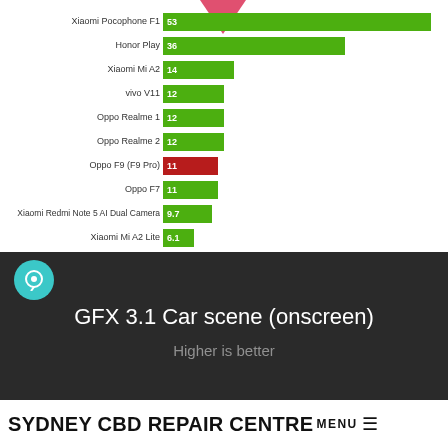[Figure (bar-chart): GFX 3.1 Car scene (onscreen)]
GFX 3.1 Car scene (onscreen)
Higher is better
SYDNEY CBD REPAIR CENTRE MENU ☰